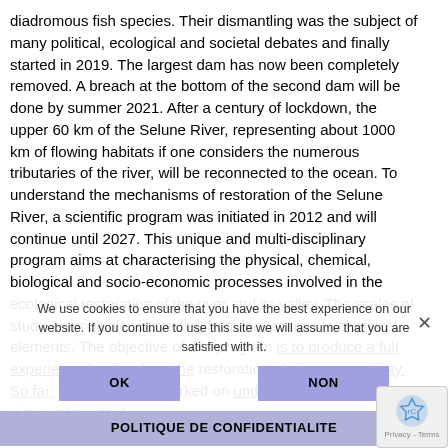diadromous fish species. Their dismantling was the subject of many political, ecological and societal debates and finally started in 2019. The largest dam has now been completely removed. A breach at the bottom of the second dam will be done by summer 2021. After a century of lockdown, the upper 60 km of the Selune River, representing about 1000 km of flowing habitats if one considers the numerous tributaries of the river, will be reconnected to the ocean. To understand the mechanisms of restoration of the Selune River, a scientific program was initiated in 2012 and will continue until 2027. This unique and multi-disciplinary program aims at characterising the physical, chemical, biological and socio-economic processes involved in the ecological restoration of the river and its valley. The scales of study are multiple, cascading from landscapes to chemical elements. The objective of this program is to produce a full experience feedback on the restoration of river connectivity. So far, scientists have worked on understanding how the river works with d... Current research also focuses on anticipating the changes
We use cookies to ensure that you have the best experience on our website. If you continue to use this site we will assume that you are satisfied with it.
OK   NON
POLITIQUE DE CONFIDENTIALITE